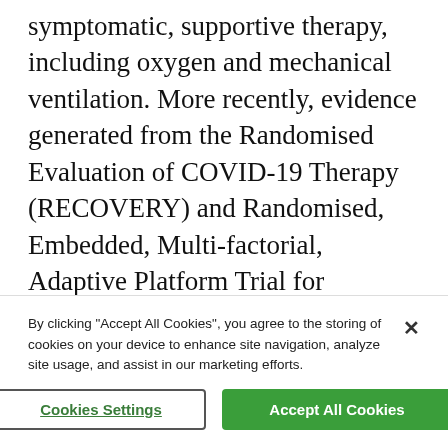symptomatic, supportive therapy, including oxygen and mechanical ventilation. More recently, evidence generated from the Randomised Evaluation of COVID-19 Therapy (RECOVERY) and Randomised, Embedded, Multi-factorial, Adaptive Platform Trial for Community-Acquired Pneumonia (REMAP-CAP) landmark trials are being used to guide therapy [19,20]. The adaptive (multi-domain) design of the studies allows...
By clicking "Accept All Cookies", you agree to the storing of cookies on your device to enhance site navigation, analyze site usage, and assist in our marketing efforts.
Cookies Settings
Accept All Cookies